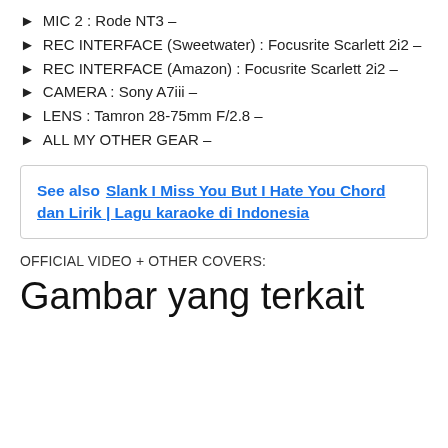► MIC 2 : Rode NT3 –
► REC INTERFACE (Sweetwater) : Focusrite Scarlett 2i2 –
► REC INTERFACE (Amazon) : Focusrite Scarlett 2i2 –
► CAMERA : Sony A7iii –
► LENS : Tamron 28-75mm F/2.8 –
► ALL MY OTHER GEAR –
See also  Slank I Miss You But I Hate You Chord dan Lirik | Lagu karaoke di Indonesia
OFFICIAL VIDEO + OTHER COVERS:
Gambar yang terkait